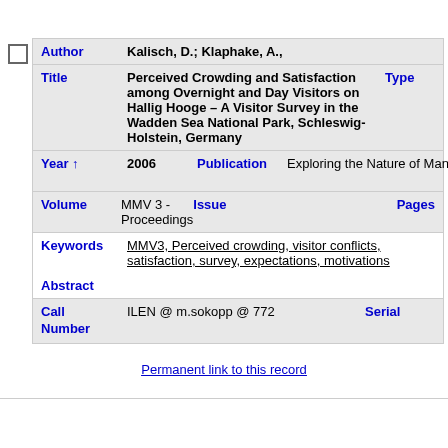| Field | Value |
| --- | --- |
| Author | Kalisch, D.; Klaphake, A., |
| Title | Perceived Crowding and Satisfaction among Overnight and Day Visitors on Hallig Hooge – A Visitor Survey in the Wadden Sea National Park, Schleswig-Holstein, Germany |
| Year | 2006 |
| Publication | Exploring the Nature of Management |
| Abbreviated Journal |  |
| Volume | MMV 3 - Proceedings |
| Issue |  |
| Pages |  |
| Keywords | MMV3, Perceived crowding, visitor conflicts, satisfaction, survey, expectations, motivations |
| Abstract |  |
| Call Number | ILEN @ m.sokopp @ 772 |
| Serial |  |
Permanent link to this record